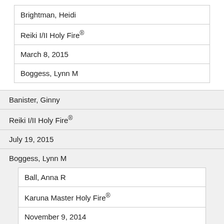| Brightman, Heidi |
| Reiki I/II Holy Fire® |
| March 8, 2015 |
| Boggess, Lynn M |
| Banister, Ginny |
| Reiki I/II Holy Fire® |
| July 19, 2015 |
| Boggess, Lynn M |
| Ball, Anna R |
| Karuna Master Holy Fire® |
| November 9, 2014 |